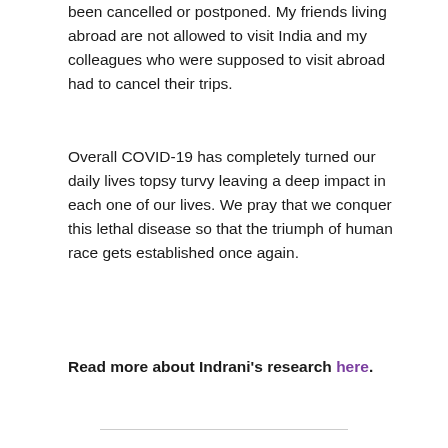been cancelled or postponed. My friends living abroad are not allowed to visit India and my colleagues who were supposed to visit abroad had to cancel their trips.
Overall COVID-19 has completely turned our daily lives topsy turvy leaving a deep impact in each one of our lives. We pray that we conquer this lethal disease so that the triumph of human race gets established once again.
Read more about Indrani's research here.